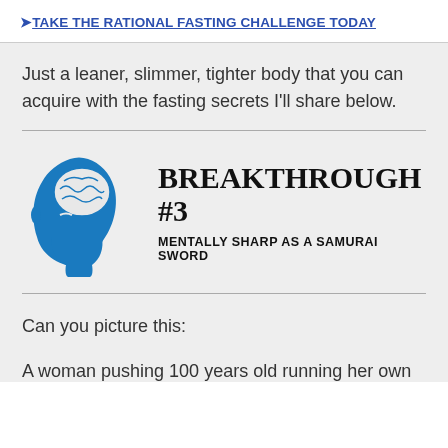❯TAKE THE RATIONAL FASTING CHALLENGE TODAY
Just a leaner, slimmer, tighter body that you can acquire with the fasting secrets I'll share below.
[Figure (illustration): Blue silhouette of a human head with brain visible, next to bold text 'BREAKTHROUGH #3' and subtitle 'MENTALLY SHARP AS A SAMURAI SWORD']
Can you picture this:
A woman pushing 100 years old running her own